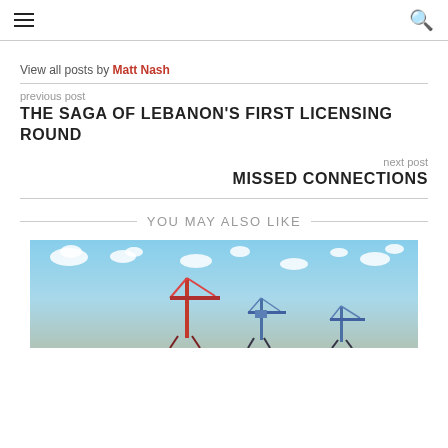≡  🔍
View all posts by Matt Nash
previous post
THE SAGA OF LEBANON'S FIRST LICENSING ROUND
next post
MISSED CONNECTIONS
YOU MAY ALSO LIKE
[Figure (photo): Port cranes against a blue sky with white clouds]